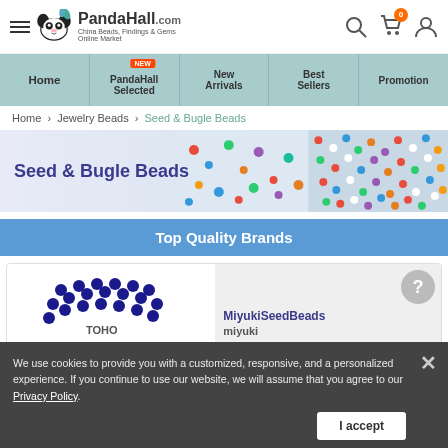[Figure (screenshot): PandaHall.com website header with hamburger menu, panda logo, brand name, search icon, cart icon with badge '0', and user icon]
Home
PandaHall Selected NEW
New Arrivals
Best Sellers
Promotion
Home > Jewelry Beads > Seed & Bugle Beads
[Figure (photo): Seed & Bugle Beads category banner with title and colorful bead photos]
Top Quality Brands
[Figure (logo): TOHO brand logo with dot pattern and brand card area with help bubble]
We use cookies to provide you with a customized, responsive, and a personalized experience. If you continue to use our website, we will assume that you agree to our Privacy Policy.
I accept